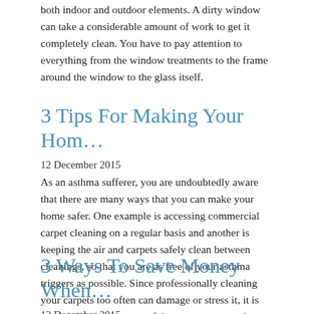both indoor and outdoor elements. A dirty window can take a considerable amount of work to get it completely clean. You have to pay attention to everything from the window treatments to the frame around the window to the glass itself.
3 Tips For Making Your Hom…
12 December 2015
As an asthma sufferer, you are undoubtedly aware that there are many ways that you can make your home safer. One example is accessing commercial carpet cleaning on a regular basis and another is keeping the air and carpets safely clean between cleanings, so that you are as free of your asthma triggers as possible. Since professionally cleaning your carpets too often can damage or stress it, it is crucial to know how to safely manage your asthma triggers between cleanings.
3 Ways To Save Money When…
12 December 2015